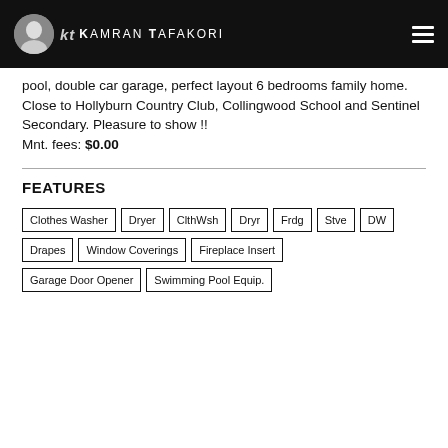kt Kamran Tafakori
pool, double car garage, perfect layout 6 bedrooms family home. Close to Hollyburn Country Club, Collingwood School and Sentinel Secondary. Pleasure to show !!
Mnt. fees: $0.00
FEATURES
Clothes Washer
Dryer
ClthWsh
Dryr
Frdg
Stve
DW
Drapes
Window Coverings
Fireplace Insert
Garage Door Opener
Swimming Pool Equip.